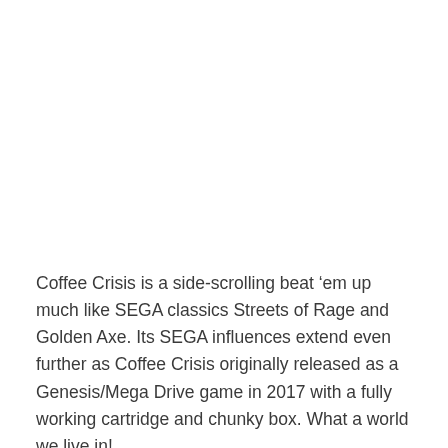Coffee Crisis is a side-scrolling beat ‘em up much like SEGA classics Streets of Rage and Golden Axe. Its SEGA influences extend even further as Coffee Crisis originally released as a Genesis/Mega Drive game in 2017 with a fully working cartridge and chunky box. What a world we live in!
Players control either Nick or Ashley, two baristas that own a coffee shop in Pittsburgh and must take down an invading